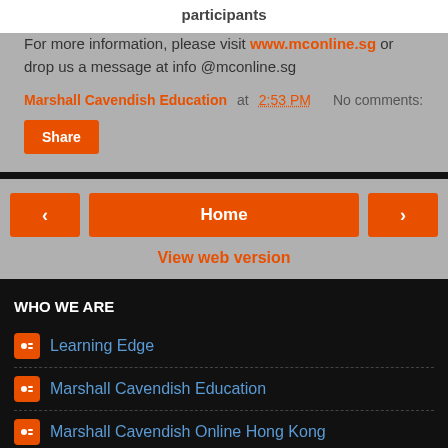participants
For more information, please visit www.mconline.sg or drop us a message at info @mconline.sg
Marshall Cavendish Education at 2:53 PM   No comments:
Share
Home
View web version
WHO WE ARE
Learning Edge
Marshall Cavendish Education
Marshall Cavendish Online Hong Kong
Powered by Blogger.